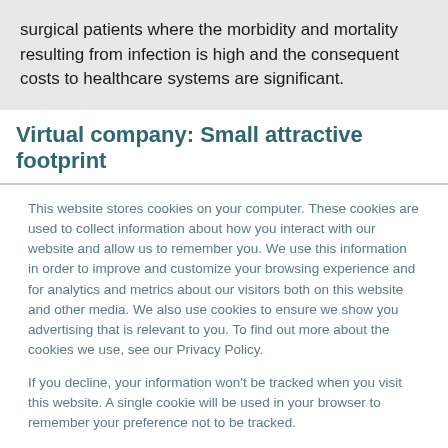surgical patients where the morbidity and mortality resulting from infection is high and the consequent costs to healthcare systems are significant.
Virtual company: Small attractive footprint
This website stores cookies on your computer. These cookies are used to collect information about how you interact with our website and allow us to remember you. We use this information in order to improve and customize your browsing experience and for analytics and metrics about our visitors both on this website and other media. We also use cookies to ensure we show you advertising that is relevant to you. To find out more about the cookies we use, see our Privacy Policy.
If you decline, your information won't be tracked when you visit this website. A single cookie will be used in your browser to remember your preference not to be tracked.